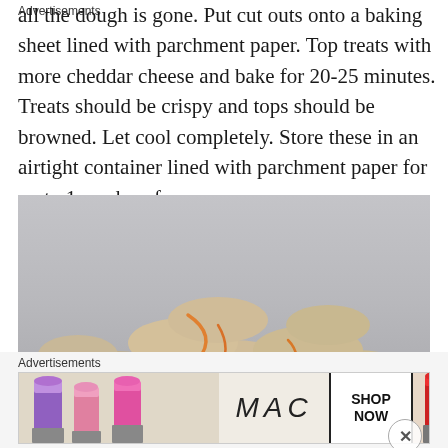all the dough is gone. Put cut outs onto a baking sheet lined with parchment paper. Top treats with more cheddar cheese and bake for 20-25 minutes. Treats should be crispy and tops should be browned. Let cool completely. Store these in an airtight container lined with parchment paper for up to 1 week or freeze.
[Figure (photo): A pile of homemade dog bone treats stacked on a dark surface, showing bone-shaped biscuits with what appears to be melted cheese on top, against a light gray background.]
Advertisements
[Figure (photo): MAC Cosmetics advertisement banner showing colorful lipsticks on the left, MAC logo in the center, a SHOP NOW button, and a red lipstick on the right.]